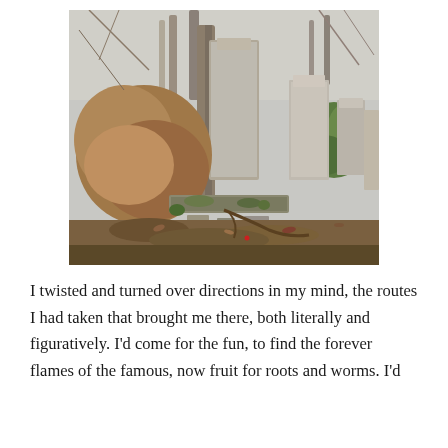[Figure (photo): A cemetery scene showing old, mossy, weathered gravestones and stone monuments partially collapsed or leaning, surrounded by dry brown shrubs and fallen leaves. Trees with bare branches stand in the background, and some green foliage is visible to the right. The sky is overcast and pale grey.]
I twisted and turned over directions in my mind, the routes I had taken that brought me there, both literally and figuratively. I'd come for the fun, to find the forever flames of the famous, now fruit for roots and worms. I'd